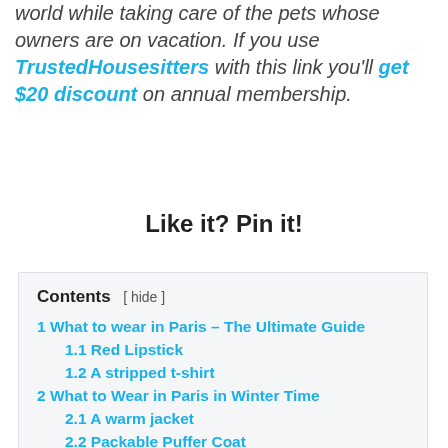world while taking care of the pets whose owners are on vacation. If you use TrustedHousesitters with this link you'll get $20 discount on annual membership.
Like it? Pin it!
| Contents |
| --- |
| 1 What to wear in Paris – The Ultimate Guide |
| 1.1 Red Lipstick |
| 1.2 A stripped t-shirt |
| 2 What to Wear in Paris in Winter Time |
| 2.1 A warm jacket |
| 2.2 Packable Puffer Coat |